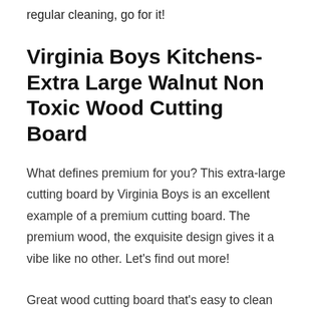regular cleaning, go for it!
Virginia Boys Kitchens- Extra Large Walnut Non Toxic Wood Cutting Board
What defines premium for you? This extra-large cutting board by Virginia Boys is an excellent example of a premium cutting board. The premium wood, the exquisite design gives it a vibe like no other. Let's find out more!
Great wood cutting board that's easy to clean and